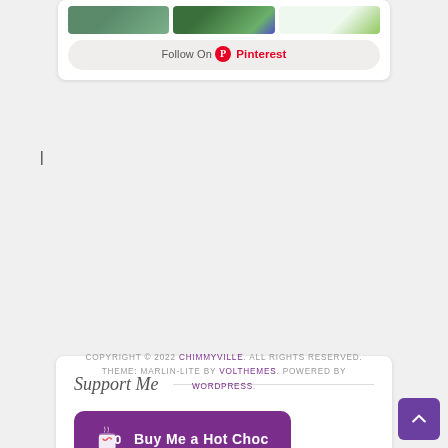[Figure (screenshot): Pinterest widget with three thumbnail images and a Follow On Pinterest button]
|
Support Me
[Figure (screenshot): Buy Me a Hot Choc button with purple background and cup icon]
COPYRIGHT © 2022 CHIMMYVILLE. ALL RIGHTS RESERVED. THEME: MARLIN-LITE BY VOLTHEMES. POWERED BY WORDPRESS.